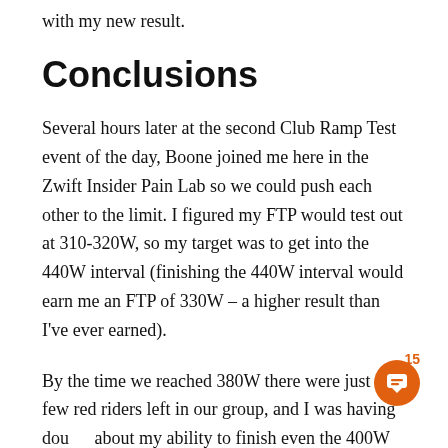with my new result.
Conclusions
Several hours later at the second Club Ramp Test event of the day, Boone joined me here in the Zwift Insider Pain Lab so we could push each other to the limit. I figured my FTP would test out at 310-320W, so my target was to get into the 440W interval (finishing the 440W interval would earn me an FTP of 330W – a higher result than I've ever earned).
By the time we reached 380W there were just a few red riders left in our group, and I was having doubts about my ability to finish even the 400W block. But I did it! Then knocked out the 420W (just barely). And with Boone yelling in my ear, "Keep pushing, every second counts" I pushed as far as I can and that's the